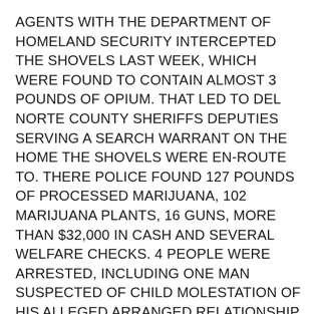AGENTS WITH THE DEPARTMENT OF HOMELAND SECURITY INTERCEPTED THE SHOVELS LAST WEEK, WHICH WERE FOUND TO CONTAIN ALMOST 3 POUNDS OF OPIUM. THAT LED TO DEL NORTE COUNTY SHERIFFS DEPUTIES SERVING A SEARCH WARRANT ON THE HOME THE SHOVELS WERE EN-ROUTE TO. THERE POLICE FOUND 127 POUNDS OF PROCESSED MARIJUANA, 102 MARIJUANA PLANTS, 16 GUNS, MORE THAN $32,000 IN CASH AND SEVERAL WELFARE CHECKS. 4 PEOPLE WERE ARRESTED, INCLUDING ONE MAN SUSPECTED OF CHILD MOLESTATION OF HIS ALLEGED ARRANGED RELATIONSHIP WITH A 14 YEAR OLD GIRL. AUTHORITIES SAY MORE ARRESTS ARE EXPECTED.
SUICIDE ATTEMPT AT JAIL JKB 4/25/11